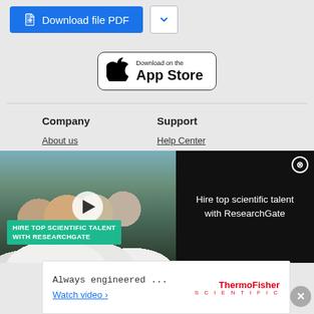[Figure (screenshot): Blue 'Download file PDF' button with document icon, and a white chevron-down button beside it]
[Figure (screenshot): Apple App Store download badge with Apple logo, 'Download on the' text and 'App Store' large text]
Company
Support
About us
Help Center
[Figure (photo): Video player thumbnail showing scientists in lab coats in a laboratory setting. Overlay teal text: 'HIRE TOP SCIENTIFIC TALENT WITH RESEARCHGATE'. Right side black panel reads: 'Hire top scientific talent with ResearchGate' with X close button.]
Business solutions
Advertisement
[Figure (screenshot): Thermo Fisher Scientific advertisement box with text 'Always engineered ...' and 'Watch video ›' link in blue, Thermo Fisher Scientific logo in red on right]
[Figure (other): Gray circular X close button at bottom right]